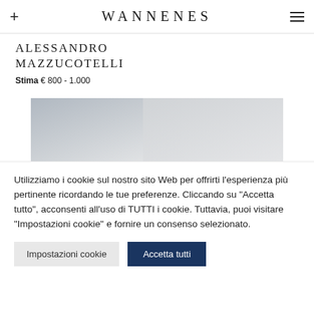WANNENES
ALESSANDRO MAZZUCOTELLI
Stima € 800 - 1.000
[Figure (photo): Partial view of an artwork or decorative object by Alessandro Mazzucotelli, shown in two panels — left panel with darker gradient metallic background, right panel lighter grey.]
Utilizziamo i cookie sul nostro sito Web per offrirti l'esperienza più pertinente ricordando le tue preferenze. Cliccando su "Accetta tutto", acconsenti all'uso di TUTTI i cookie. Tuttavia, puoi visitare "Impostazioni cookie" e fornire un consenso selezionato.
Impostazioni cookie
Accetta tutti